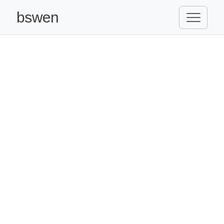bswen
[Figure (other): Hamburger menu toggle button with three horizontal lines, rounded rectangle border]